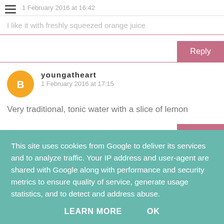1 February 2016 at 16:42
I like it with freshly squeezed orange juice
Reply
youngatheart
1 February 2016 at 17:15
Very traditional, tonic water with a slice of lemon
Reply
This site uses cookies from Google to deliver its services and to analyze traffic. Your IP address and user-agent are shared with Google along with performance and security metrics to ensure quality of service, generate usage statistics, and to detect and address abuse.
LEARN MORE   OK